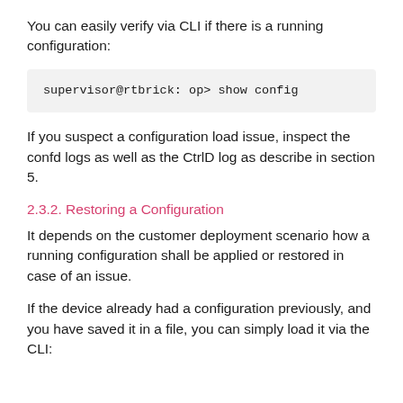You can easily verify via CLI if there is a running configuration:
supervisor@rtbrick: op> show config
If you suspect a configuration load issue, inspect the confd logs as well as the CtrlD log as describe in section 5.
2.3.2. Restoring a Configuration
It depends on the customer deployment scenario how a running configuration shall be applied or restored in case of an issue.
If the device already had a configuration previously, and you have saved it in a file, you can simply load it via the CLI: